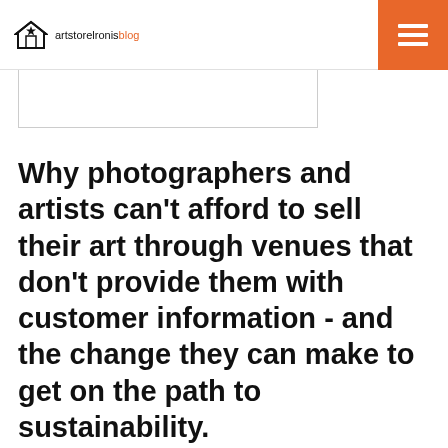artstoreironisblog
[Figure (other): Partial image visible at top, below header navigation bar]
Why photographers and artists can't afford to sell their art through venues that don't provide them with customer information - and the change they can make to get on the path to sustainability.